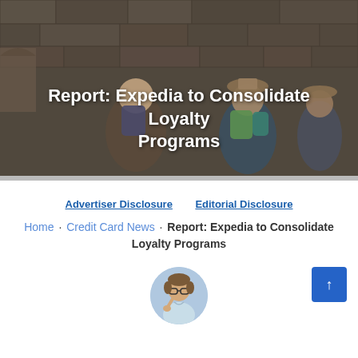[Figure (photo): Hero image showing tourists with backpacks sitting against a stone wall, viewed from behind. Image has a dark overlay.]
Report: Expedia to Consolidate Loyalty Programs
Advertiser Disclosure   Editorial Disclosure
Home · Credit Card News · Report: Expedia to Consolidate Loyalty Programs
[Figure (photo): Circular author avatar photo showing a man with glasses]